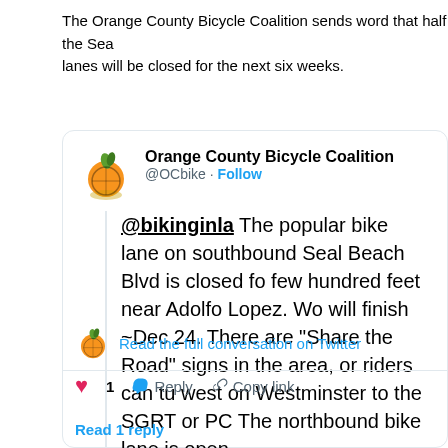The Orange County Bicycle Coalition sends word that half the Sea lanes will be closed for the next six weeks.
[Figure (screenshot): Embedded tweet from @OCbike (Orange County Bicycle Coalition) reading: '@bikinginla The popular bike lane on southbound Seal Beach Blvd is closed for a few hundred feet near Adolfo Lopez. Work will finish ~Dec 24. There are "Share the Road" signs in the area, or riders can turn west on Westminster to the SGRT or PC. The northbound bike lane is open.' Posted 12:14 AM · Nov 13, 2019. Shows 1 like, Reply, and Copy link actions. Also shows a 'Read the full conversation on Twitter' link and 'Read 1 reply' at the bottom.]